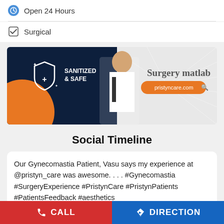Open 24 Hours
Surgical
[Figure (photo): Advertisement banner for Pristyn Care showing a doctor in white coat with text 'Sanitized & Safe' and 'Surgery matlab' with pristyncare.com URL]
Social Timeline
Our Gynecomastia Patient, Vasu says my experience at @pristyn_care was awesome. . . . #Gynecomastia #SurgeryExperience #PristynCare #PristynPatients #PatientsFeedback #aesthetics
CALL    DIRECTION